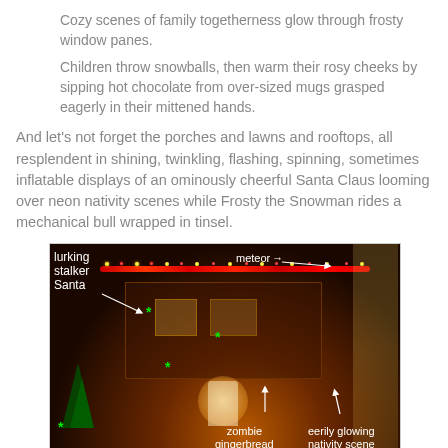Cozy scenes of family togetherness glow through frosty window panes.
Children throw snowballs, then warm their rosy cheeks by sipping hot chocolate from over-sized mugs grasped eagerly in their mittened hands.
And let's not forget the porches and lawns and rooftops, all resplendent in shining, twinkling, flashing, spinning, sometimes inflatable displays of an ominously cheerful Santa Claus looming over neon nativity scenes while Frosty the Snowman rides a mechanical bull wrapped in tinsel.
[Figure (photo): A brightly decorated house at night with Christmas lights covering the exterior, inflatable decorations on the lawn, and annotated labels including 'lurking stalker Santa', 'meteor' with arrow, 'zombie gingerbread', 'eerily glowing nativity scene', and green asterisks marking various decorations.]